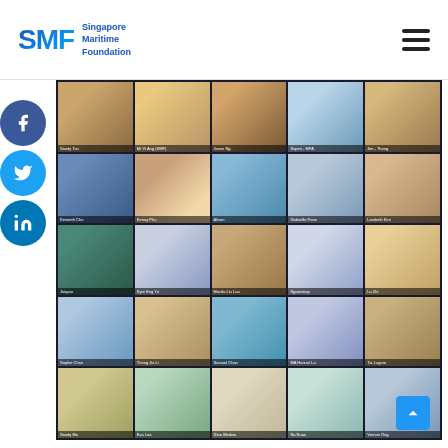Singapore Maritime Foundation
[Figure (photo): Screenshot of a video conference call with approximately 25 participants arranged in a 5x5 grid. Participants appear to be from a maritime or professional organization event. Most participants are giving thumbs up gestures. Name tags visible at bottom of each cell include names such as Sandy Tan, Kenny Phu, Alison, Gabrielle Poon, Lambeth Kim, Teng, Kyre Fng Yu, Manila Liu Lua, Ngawatrop, Lu Zhi, Sophie Chan, Sinual Chan, MA Hannat Lu, Tia Lugmo, Sandy Mo, Eva Loo, Gina Medina, Na Nuan, Vernon Ong.]